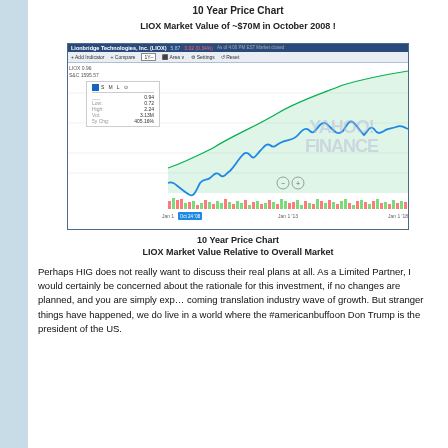10 Year Price Chart
LIOX Market Value of ~$70M in October 2008 !
[Figure (screenshot): Yahoo Finance 10-year price chart screenshot for Lionbridge Technologies, Inc. (LIOX) showing stock price line chart in blue with comparison line in green (S&P 500 area), volume bars at bottom, and info overlay box. X-axis shows Jan 1 dates from ~2008 to ~2018.]
10 Year Price Chart
LIOX Market Value Relative to Overall Market
Perhaps HIG does not really want to discuss their real plans at all. As a Limited Partner, I would certainly be concerned about the rationale for this investment, if no changes are planned, and you are simply expecting the coming translation industry wave of growth. But stranger things have happened, we do live in a world where the #americanbuffoon Don Trump is the president of the US.